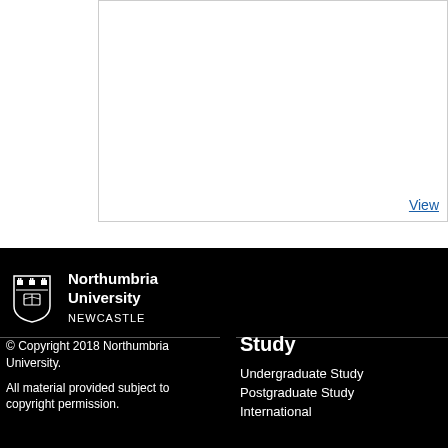[Figure (screenshot): White content box with a 'View' hyperlink in the bottom-right corner, partially cropped from the top.]
[Figure (logo): Northumbria University Newcastle shield logo with institution name in white text on black background.]
© Copyright 2018 Northumbria University.

All material provided subject to copyright permission.
Study
Undergraduate Study
Postgraduate Study
International